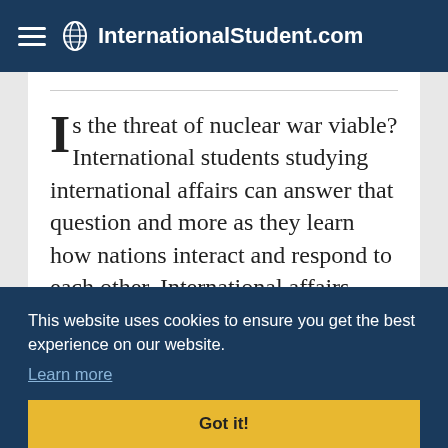InternationalStudent.com
Is the threat of nuclear war viable? International students studying international affairs can answer that question and more as they learn how nations interact and respond to each other. International affairs students can connect with like-minded with different perspectives on politics and business while helping make the world a better place to live for communities across the world.
This website uses cookies to ensure you get the best experience on our website.
Learn more
Got it!